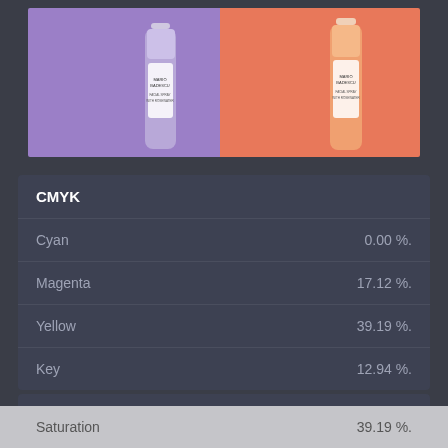[Figure (photo): Two Mario Badescu facial spray bottles on a split purple and orange/coral background. One bottle on the purple side, one on the orange side.]
| CMYK |  |
| --- | --- |
| Cyan | 0.00 %. |
| Magenta | 17.12 %. |
| Yellow | 39.19 %. |
| Key | 12.94 %. |
| HSV/HSB |  |
| --- | --- |
| Hue | 33.75 |
| Saturation | 39.19 %. |